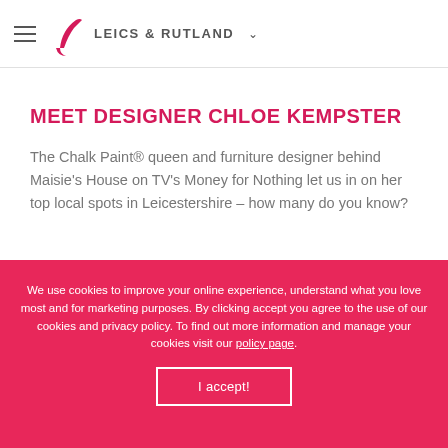LEICS & RUTLAND
MEET DESIGNER CHLOE KEMPSTER
The Chalk Paint® queen and furniture designer behind Maisie's House on TV's Money for Nothing let us in on her top local spots in Leicestershire – how many do you know?
We use cookies to improve your online experience, understand what you love most and for marketing purposes. By clicking accept you agree to the use of our cookies and privacy policy. To find out more information and manage your cookies visit our policy page.